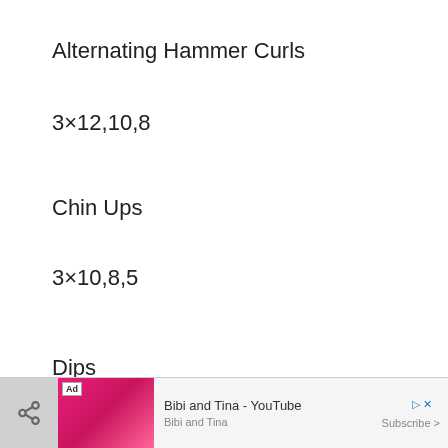Alternating Hammer Curls
3×12,10,8
Chin Ups
3×10,8,5
Dips
3×15,12,10
[Figure (screenshot): Mobile app advertisement banner at the bottom showing 'Ad' badge, Bibi and Tina YouTube channel promotional banner with Subscribe button and close/play controls, alongside a share button on the far left.]